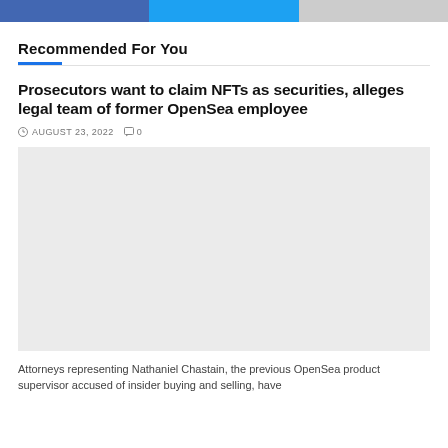[Figure (other): Social sharing buttons bar: Facebook (blue), Twitter (light blue), and a third grey button]
Recommended For You
Prosecutors want to claim NFTs as securities, alleges legal team of former OpenSea employee
AUGUST 23, 2022  0
[Figure (photo): Article thumbnail image placeholder (light grey rectangle)]
Attorneys representing Nathaniel Chastain, the previous OpenSea product supervisor accused of insider buying and selling, have